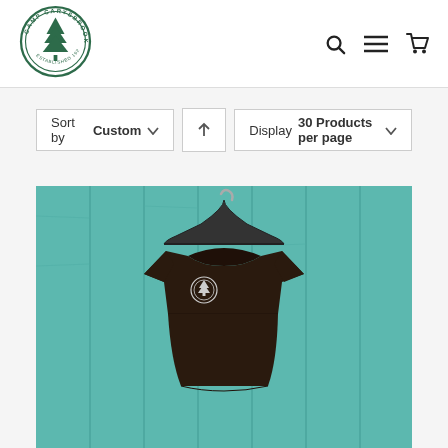[Figure (logo): Camp Carysbrook circular logo with pine tree and text 'ESTABLISHED 1923']
Sort by Custom | Display 30 Products per page
[Figure (photo): Dark brown t-shirt with Camp Carysbrook logo hanging on a black hanger against a teal/green painted wooden plank wall]